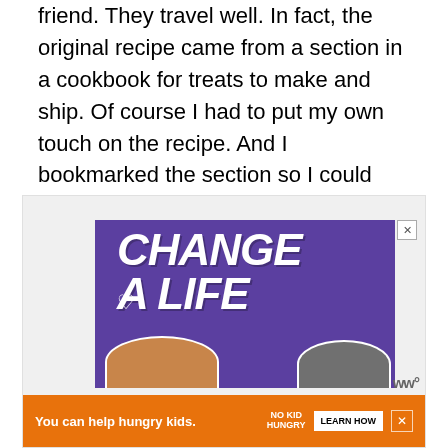friend. They travel well. In fact, the original recipe came from a section in a cookbook for treats to make and ship. Of course I had to put my own touch on the recipe. And I bookmarked the section so I could later refer to the tips for packing up and mailing cookies or bars.
[Figure (other): Advertisement banner with purple background showing two cats and bold white italic text reading 'CHANGE A LIFE' with a heart icon. Below it an orange banner ad reading 'You can help hungry kids.' with No Kid Hungry logo and LEARN HOW button.]